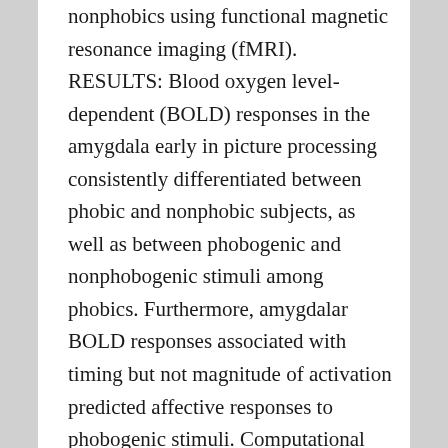nonphobics using functional magnetic resonance imaging (fMRI). RESULTS: Blood oxygen level-dependent (BOLD) responses in the amygdala early in picture processing consistently differentiated between phobic and nonphobic subjects, as well as between phobogenic and nonphobogenic stimuli among phobics. Furthermore, amygdalar BOLD responses associated with timing but not magnitude of activation predicted affective responses to phobogenic stimuli. Computational modeling procedures were used to identify patterns of neural activation in the amygdala that could yield the observed BOLD